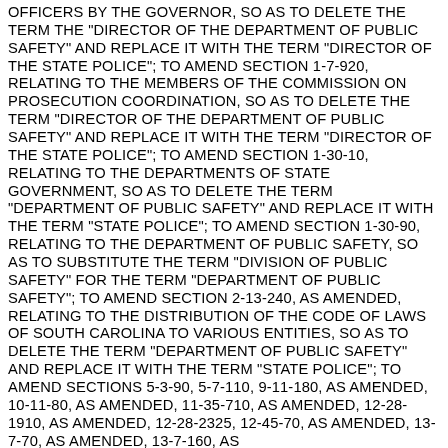OFFICERS BY THE GOVERNOR, SO AS TO DELETE THE TERM THE "DIRECTOR OF THE DEPARTMENT OF PUBLIC SAFETY" AND REPLACE IT WITH THE TERM "DIRECTOR OF THE STATE POLICE"; TO AMEND SECTION 1-7-920, RELATING TO THE MEMBERS OF THE COMMISSION ON PROSECUTION COORDINATION, SO AS TO DELETE THE TERM "DIRECTOR OF THE DEPARTMENT OF PUBLIC SAFETY" AND REPLACE IT WITH THE TERM "DIRECTOR OF THE STATE POLICE"; TO AMEND SECTION 1-30-10, RELATING TO THE DEPARTMENTS OF STATE GOVERNMENT, SO AS TO DELETE THE TERM "DEPARTMENT OF PUBLIC SAFETY" AND REPLACE IT WITH THE TERM "STATE POLICE"; TO AMEND SECTION 1-30-90, RELATING TO THE DEPARTMENT OF PUBLIC SAFETY, SO AS TO SUBSTITUTE THE TERM "DIVISION OF PUBLIC SAFETY" FOR THE TERM "DEPARTMENT OF PUBLIC SAFETY"; TO AMEND SECTION 2-13-240, AS AMENDED, RELATING TO THE DISTRIBUTION OF THE CODE OF LAWS OF SOUTH CAROLINA TO VARIOUS ENTITIES, SO AS TO DELETE THE TERM "DEPARTMENT OF PUBLIC SAFETY" AND REPLACE IT WITH THE TERM "STATE POLICE"; TO AMEND SECTIONS 5-3-90, 5-7-110, 9-11-180, AS AMENDED, 10-11-80, AS AMENDED, 11-35-710, AS AMENDED, 12-28-1910, AS AMENDED, 12-28-2325, 12-45-70, AS AMENDED, 13-7-70, AS AMENDED, 13-7-160, AS